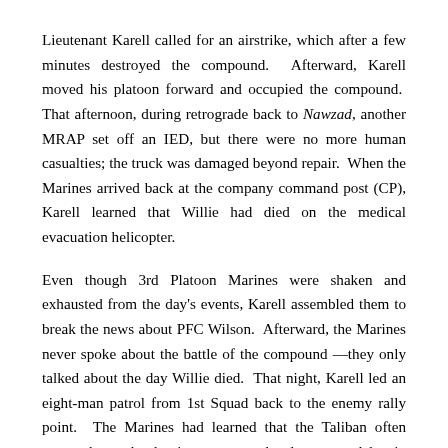Lieutenant Karell called for an airstrike, which after a few minutes destroyed the compound. Afterward, Karell moved his platoon forward and occupied the compound. That afternoon, during retrograde back to Nawzad, another MRAP set off an IED, but there were no more human casualties; the truck was damaged beyond repair. When the Marines arrived back at the company command post (CP), Karell learned that Willie had died on the medical evacuation helicopter.
Even though 3rd Platoon Marines were shaken and exhausted from the day's events, Karell assembled them to break the news about PFC Wilson. Afterward, the Marines never spoke about the battle of the compound —they only talked about the day Willie died. That night, Karell led an eight-man patrol from 1st Squad back to the enemy rally point. The Marines had learned that the Taliban often returned to a battle site to assess the damage and lay in more IEDs. No sooner had Karell and his men reached the area just outside the